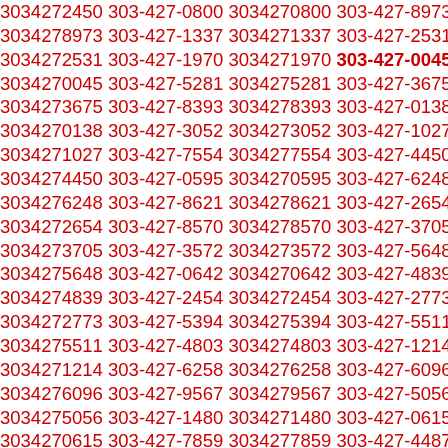3034272450 303-427-0800 3034270800 303-427-8973 3034278973 303-427-1337 3034271337 303-427-2531 3034272531 303-427-1970 3034271970 303-427-0045 3034270045 303-427-5281 3034275281 303-427-3675 3034273675 303-427-8393 3034278393 303-427-0138 3034270138 303-427-3052 3034273052 303-427-1027 3034271027 303-427-7554 3034277554 303-427-4450 3034274450 303-427-0595 3034270595 303-427-6248 3034276248 303-427-8621 3034278621 303-427-2654 3034272654 303-427-8570 3034278570 303-427-3705 3034273705 303-427-3572 3034273572 303-427-5648 3034275648 303-427-0642 3034270642 303-427-4839 3034274839 303-427-2454 3034272454 303-427-2773 3034272773 303-427-5394 3034275394 303-427-5511 3034275511 303-427-4803 3034274803 303-427-1214 3034271214 303-427-6258 3034276258 303-427-6096 3034276096 303-427-9567 3034279567 303-427-5056 3034275056 303-427-1480 3034271480 303-427-0615 3034270615 303-427-7859 3034277859 303-427-4487 3034274487 303-427-5703 3034275703 303-427-8114 3034278114 303-427-8980 3034278980 303-427-5863 3034275863 303-427-0507 3034270507 303-427-5128 3034275128 303-427-8927 3034278927 303-427-6585 3034276585 303-427-0845 3034270845 303-427-8117 3034278117 303-427-3850 3034273850 303-427-0441 3034279441 303-427-1971 3034271971 303-427-5929